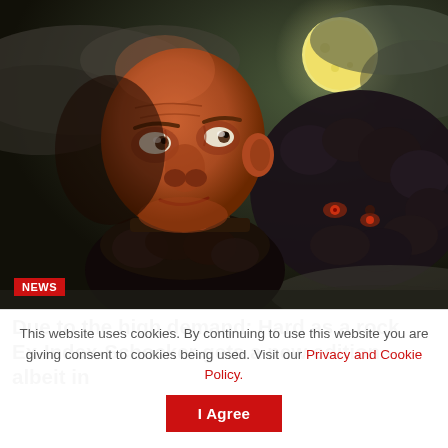[Figure (illustration): Digital illustration of a bald, intense-looking man in dark leather/fur clothing with a spiked collar, standing against a dramatic moonlit cloudy sky. A large dark creature (monster) lurks behind him to the right. A bright full moon glows in the upper right. A red 'NEWS' badge is overlaid in the lower left corner of the image.]
Due to the high demand: Hard as a rock Ex-Index-Schocker gets a new edition – albeit in
This website uses cookies. By continuing to use this website you are giving consent to cookies being used. Visit our Privacy and Cookie Policy.